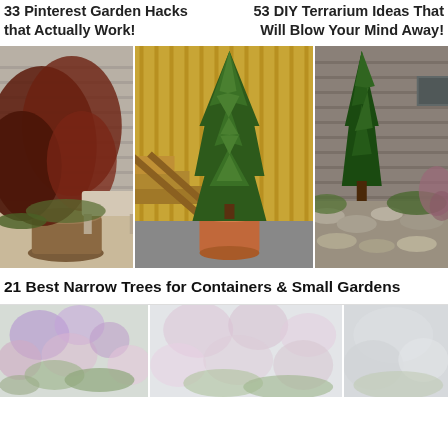33 Pinterest Garden Hacks that Actually Work!
53 DIY Terrarium Ideas That Will Blow Your Mind Away!
[Figure (photo): Three-panel collage of narrow trees: left panel shows a Japanese maple in a container on a patio, center panel shows a tall arborvitae in a terracotta pot next to wooden stairs, right panel shows a narrow juniper or cypress growing along a stone pathway next to a house.]
21 Best Narrow Trees for Containers & Small Gardens
[Figure (photo): Three-panel collage of garden flowers, partially visible at the bottom of the page — pink and purple blooms in a garden setting.]